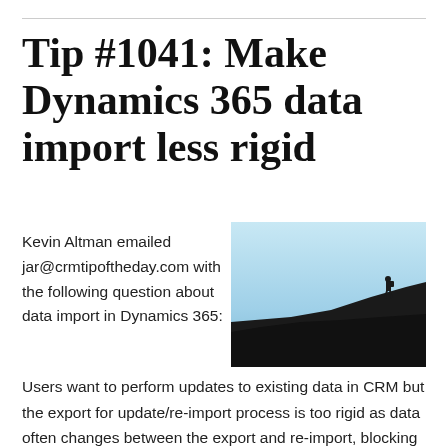Tip #1041: Make Dynamics 365 data import less rigid
Kevin Altman emailed jar@crmtipoftheday.com with the following question about data import in Dynamics 365:
[Figure (photo): Silhouette of a person hiking on a dark hillside against a light blue sky]
Users want to perform updates to existing data in CRM but the export for update/re-import process is too rigid as data often changes between the export and re-import, blocking the import (I guess CRM forces you to have no changes to [...]